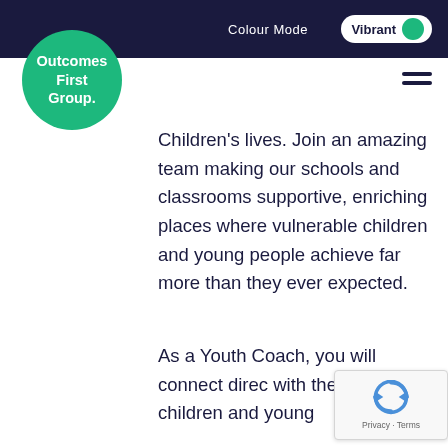Colour Mode  Vibrant
[Figure (logo): Outcomes First Group circular green logo with white text]
Children’s lives. Join an amazing team making our schools and classrooms supportive, enriching places where vulnerable children and young people achieve far more than they ever expected.
As a Youth Coach, you will connect direc with the brilliant children and young